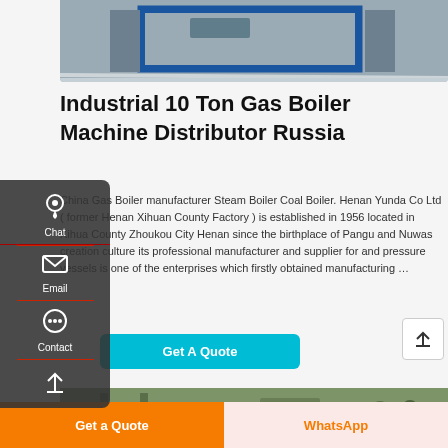[Figure (photo): Top photo of industrial gas boiler machine with blue metal frame structure on factory floor]
Industrial 10 Ton Gas Boiler Machine Distributor Russia
China Gas Boiler manufacturer Steam Boiler Coal Boiler. Henan Yunda Co Ltd ( former Henan Xihuan County Factory ) is established in 1956 located in Xihua County Zhoukou City Henan since the birthplace of Pangu and Nuwas creation culture its professional manufacturer and supplier for and pressure vessels is one of the enterprises which firstly obtained manufacturing …
[Figure (photo): Bottom partial photo of industrial equipment with green structure visible]
Get A Quote
Get a Quote
WhatsApp